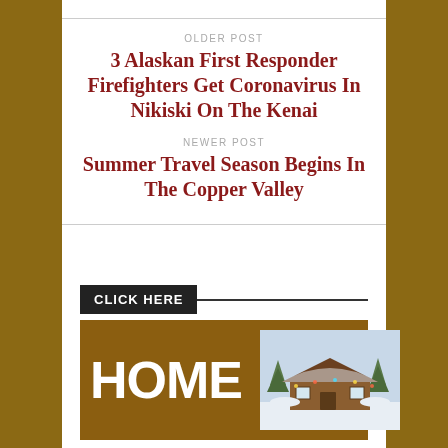OLDER POST
3 Alaskan First Responder Firefighters Get Coronavirus In Nikiski On The Kenai
NEWER POST
Summer Travel Season Begins In The Copper Valley
CLICK HERE
[Figure (infographic): Home banner with brown background, large white 'HOME' text on the left and a photo of a log cabin in winter on the right]